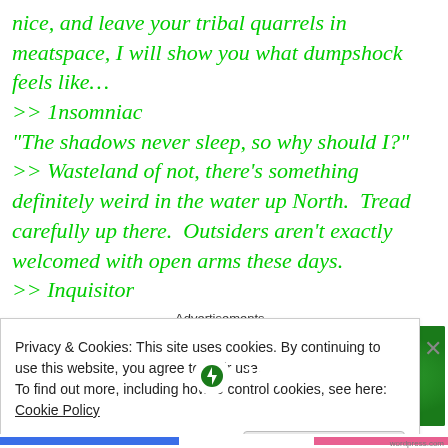nice, and leave your tribal quarrels in meatspace, I will show you what dumpshock feels like…
>> 1nsomniac
“The shadows never sleep, so why should I?”
>> Wasteland of not, there’s something definitely weird in the water up North.  Tread carefully up there.  Outsiders aren't exactly welcomed with open arms these days.
>> Inquisitor
Advertisements
[Figure (logo): Jetpack advertisement banner with green background and Jetpack logo]
Privacy & Cookies: This site uses cookies. By continuing to use this website, you agree to their use.
To find out more, including how to control cookies, see here: Cookie Policy
Close and accept